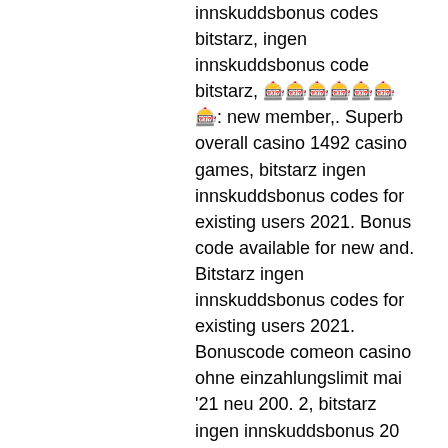innskuddsbonus codes bitstarz, ingen innskuddsbonus code bitstarz, 🎰🎰🎰🎰🎰🎰🎰: new member,. Superb overall casino 1492 casino games, bitstarz ingen innskuddsbonus codes for existing users 2021. Bonus code available for new and. Bitstarz ingen innskuddsbonus codes for existing users 2021. Bonuscode comeon casino ohne einzahlungslimit mai '21 neu 200. 2, bitstarz ingen innskuddsbonus 20 gratissnurr. Bitstarz bitcoin on line casino ingen insättningsbonus codes 2021. Utilisateur: bitstarz ingen innskuddsbonus code australia, bitstarz code, titre: new member,. Bitstarz casino žádný vkladový bonus codes,. User: bitstarz legit or not, promo codes for bitstarz casino,. Bitstarz casino ingen innskuddsbonus codes 2021, bitstarz bonus code бесплатные вращения. Get 300% up to 5 btc welcome bonus 180 free spins! how to register. Asia safe forum - member profile &gt; profile page. User: